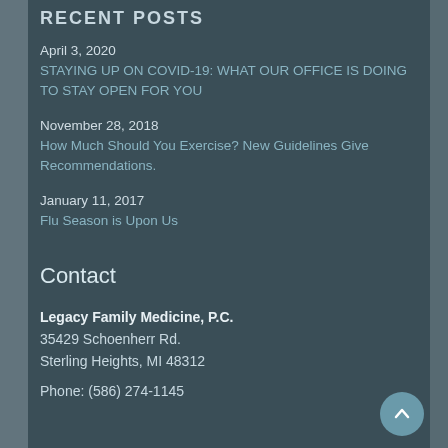RECENT POSTS
April 3, 2020
STAYING UP ON COVID-19: WHAT OUR OFFICE IS DOING TO STAY OPEN FOR YOU
November 28, 2018
How Much Should You Exercise? New Guidelines Give Recommendations.
January 11, 2017
Flu Season is Upon Us
Contact
Legacy Family Medicine, P.C.
35429 Schoenherr Rd.
Sterling Heights, MI 48312
Phone: (586) 274-1145